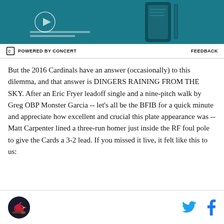[Figure (screenshot): Advertisement banner showing a Samsung Galaxy Z Fold smartphone in teal/dark color against a teal background]
POWERED BY CONCERT   FEEDBACK
But the 2016 Cardinals have an answer (occasionally) to this dilemma, and that answer is DINGERS RAINING FROM THE SKY. After an Eric Fryer leadoff single and a nine-pitch walk by Greg OBP Monster Garcia -- let's all be the BFIB for a quick minute and appreciate how excellent and crucial this plate appearance was -- Matt Carpenter lined a three-run homer just inside the RF foul pole to give the Cards a 3-2 lead. If you missed it live, it felt like this to us:
[Figure (logo): Cardinals bird logo circle and social media icons (Twitter and Facebook)]